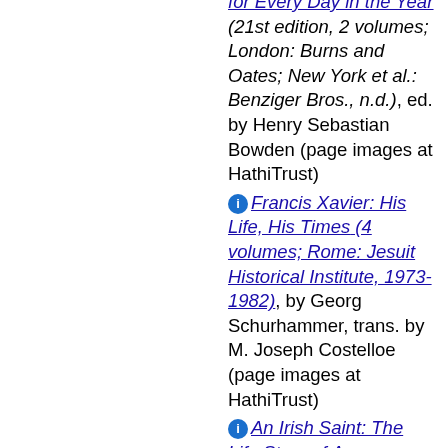for Every Day in the Year (21st edition, 2 volumes; London: Burns and Oates; New York et al.: Benziger Bros., n.d.), ed. by Henry Sebastian Bowden (page images at HathiTrust)
Francis Xavier: His Life, His Times (4 volumes; Rome: Jesuit Historical Institute, 1973-1982), by Georg Schurhammer, trans. by M. Joseph Costelloe (page images at HathiTrust)
An Irish Saint: The Life Story of Ann Preston, Known Also as "Holy Ann", by Helen E. Bingham (PDF at nnu.edu)
Historias de la Corte Celestial, por un Sacristan Jubilado (in Spanish; Madrid: Imprenta popular, ca. 1891), by Narciso Campillo y Correa (page images at HathiTrust)
The Life and Times of Saint Aldhelm, First Bishop of Sherborne, A.D. 705-709 (Bath: